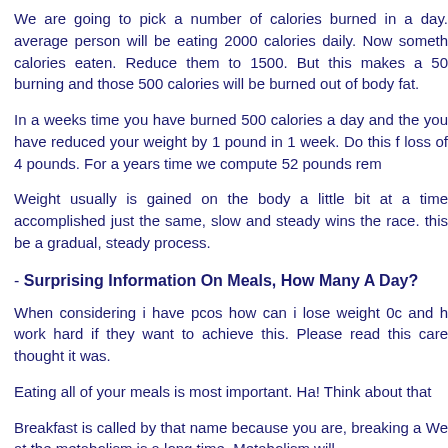We are going to pick a number of calories burned in a day. average person will be eating 2000 calories daily. Now someth calories eaten. Reduce them to 1500. But this makes a 50 burning and those 500 calories will be burned out of body fat.
In a weeks time you have burned 500 calories a day and the you have reduced your weight by 1 pound in 1 week. Do this f loss of 4 pounds. For a years time we compute 52 pounds rem
Weight usually is gained on the body a little bit at a time accomplished just the same, slow and steady wins the race. this be a gradual, steady process.
- Surprising Information On Meals, How Many A Day?
When considering i have pcos how can i lose weight 0c and h work hard if they want to achieve this. Please read this care thought it was.
Eating all of your meals is most important. Ha! Think about that
Breakfast is called by that name because you are, breaking a We at the metabolism is a long time. Metabolism will